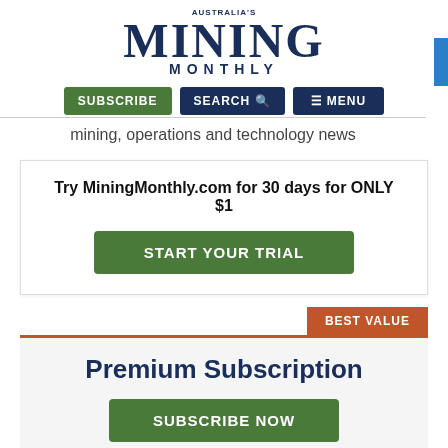AUSTRALIA'S MINING MONTHLY
mining, operations and technology news
Try MiningMonthly.com for 30 days for ONLY $1
START YOUR TRIAL
BEST VALUE
Premium Subscription
SUBSCRIBE NOW